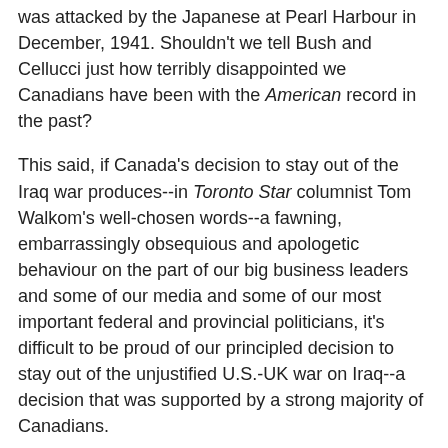was attacked by the Japanese at Pearl Harbour in December, 1941. Shouldn't we tell Bush and Cellucci just how terribly disappointed we Canadians have been with the American record in the past?
This said, if Canada's decision to stay out of the Iraq war produces--in Toronto Star columnist Tom Walkom's well-chosen words--a fawning, embarrassingly obsequious and apologetic behaviour on the part of our big business leaders and some of our media and some of our most important federal and provincial politicians, it's difficult to be proud of our principled decision to stay out of the unjustified U.S.-UK war on Iraq--a decision that was supported by a strong majority of Canadians.
If one almost certain result is joining in Bush's reckless Star Wars adventure, as appears will almost certainly be the case, knowing full well that the Americans without the slightest question intend to embark on the weaponizing of space in total contradiction to Canada's long-established position,